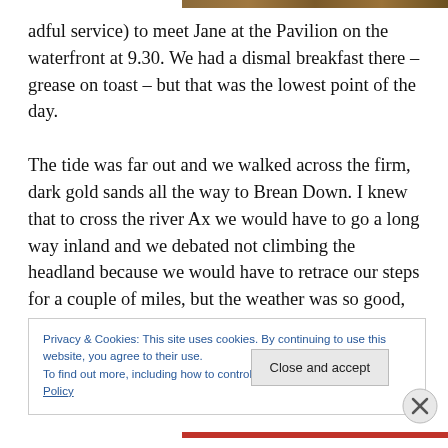[Figure (photo): Partial photo strip visible at top of page, showing a dark landscape or outdoor scene]
adful service) to meet Jane at the Pavilion on the waterfront at 9.30. We had a dismal breakfast there – grease on toast – but that was the lowest point of the day.

The tide was far out and we walked across the firm, dark gold sands all the way to Brean Down. I knew that to cross the river Ax we would have to go a long way inland and we debated not climbing the headland because we would have to retrace our steps for a couple of miles, but the weather was so good, we were making such good time
Privacy & Cookies: This site uses cookies. By continuing to use this website, you agree to their use.
To find out more, including how to control cookies, see here: Cookie Policy
Close and accept